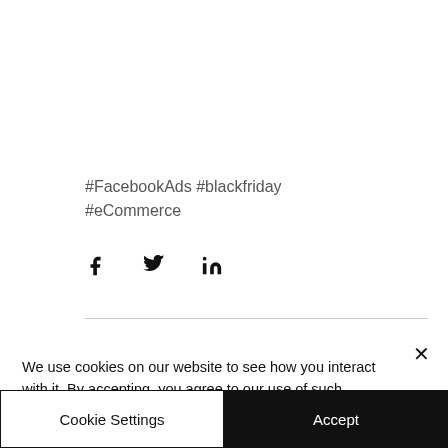#FacebookAds #blackfriday #eCommerce
[Figure (other): Social share icons: Facebook (f), Twitter (bird), LinkedIn (in)]
We use cookies on our website to see how you interact with it. By accepting, you agree to our use of such cookies. See Privacy Policy
Cookie Settings
Accept